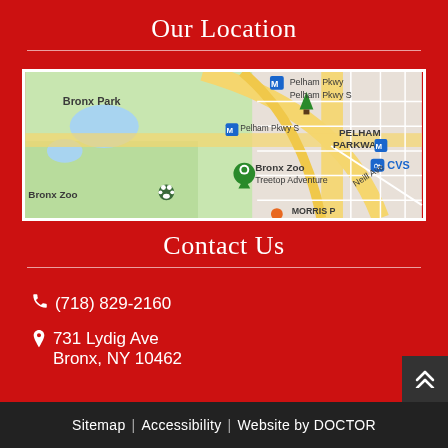Our Location
[Figure (map): Google Maps showing Bronx Park, Bronx Zoo, Bronx Zoo Treetop Adventure, Pelham Parkway neighborhood, with streets and metro markers visible.]
Contact Us
(718) 829-2160
731 Lydig Ave
Bronx, NY 10462
Sitemap | Accessibility | Website by DOCTOR